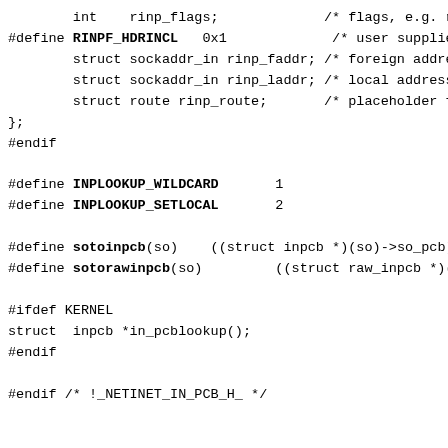int    rinp_flags;             /* flags, e.g. ra
#define RINPF_HDRINCL   0x1             /* user supplies
        struct sockaddr_in rinp_faddr; /* foreign addres
        struct sockaddr_in rinp_laddr; /* local address
        struct route rinp_route;       /* placeholder fo
};
#endif

#define INPLOOKUP_WILDCARD       1
#define INPLOOKUP_SETLOCAL       2

#define sotoinpcb(so)    ((struct inpcb *)(so)->so_pcb)
#define sotorawinpcb(so)         ((struct raw_inpcb *)(so

#ifdef KERNEL
struct  inpcb *in_pcblookup();
#endif

#endif /* !_NETINET_IN_PCB_H_ */